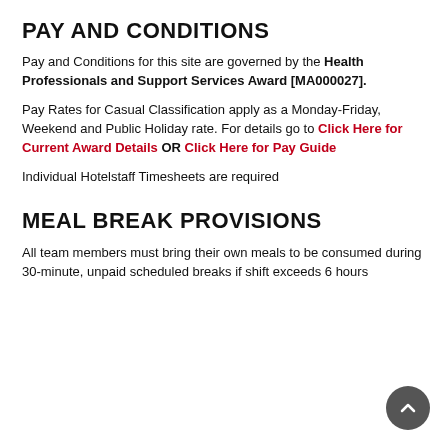PAY AND CONDITIONS
Pay and Conditions for this site are governed by the Health Professionals and Support Services Award [MA000027].
Pay Rates for Casual Classification apply as a Monday-Friday, Weekend and Public Holiday rate. For details go to Click Here for Current Award Details OR Click Here for Pay Guide
Individual Hotelstaff Timesheets are required
MEAL BREAK PROVISIONS
All team members must bring their own meals to be consumed during 30-minute, unpaid scheduled breaks if shift exceeds 6 hours